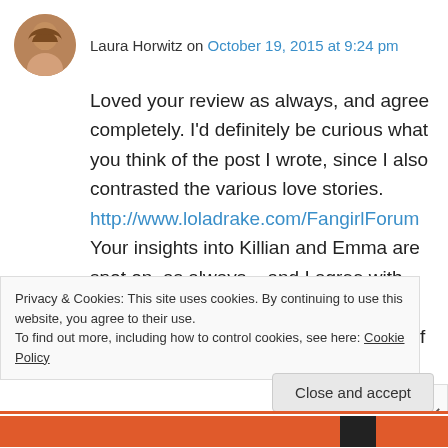Laura Horwitz on October 19, 2015 at 9:24 pm
Loved your review as always, and agree completely. I'd definitely be curious what you think of the post I wrote, since I also contrasted the various love stories. http://www.loladrake.com/FangirlForum Your insights into Killian and Emma are spot on, as always – and I agree with you, it makes sense to call him Killian from now on. It's interesting to wonder if Arthur really did hear Merlin, or if
Privacy & Cookies: This site uses cookies. By continuing to use this website, you agree to their use.
To find out more, including how to control cookies, see here: Cookie Policy
Close and accept